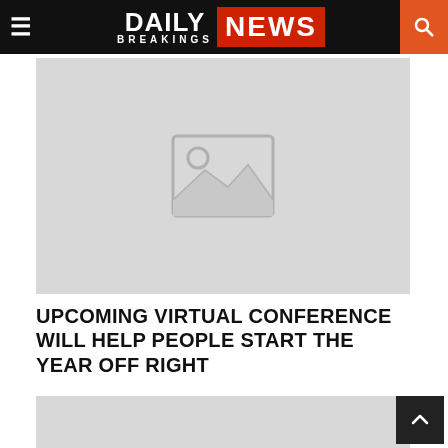DAILY BREAKINGS NEWS
[Figure (photo): Placeholder image thumbnail with mountains and sun icon on grey background]
UPCOMING VIRTUAL CONFERENCE WILL HELP PEOPLE START THE YEAR OFF RIGHT
[Figure (photo): Partial placeholder image on grey background at bottom of page]